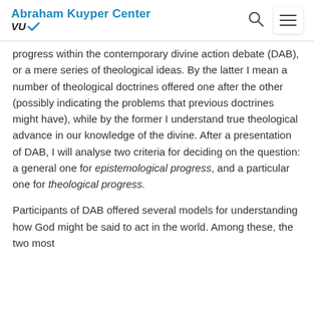Abraham Kuyper Center VU
progress within the contemporary divine action debate (DAB), or a mere series of theological ideas. By the latter I mean a number of theological doctrines offered one after the other (possibly indicating the problems that previous doctrines might have), while by the former I understand true theological advance in our knowledge of the divine. After a presentation of DAB, I will analyse two criteria for deciding on the question: a general one for epistemological progress, and a particular one for theological progress.
Participants of DAB offered several models for understanding how God might be said to act in the world. Among these, the two most